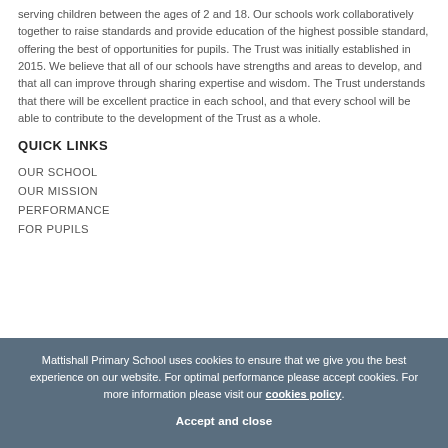serving children between the ages of 2 and 18. Our schools work collaboratively together to raise standards and provide education of the highest possible standard, offering the best of opportunities for pupils. The Trust was initially established in 2015. We believe that all of our schools have strengths and areas to develop, and that all can improve through sharing expertise and wisdom. The Trust understands that there will be excellent practice in each school, and that every school will be able to contribute to the development of the Trust as a whole.
QUICK LINKS
OUR SCHOOL
OUR MISSION
PERFORMANCE
FOR PUPILS
Mattishall Primary School uses cookies to ensure that we give you the best experience on our website. For optimal performance please accept cookies. For more information please visit our cookies policy.
Accept and close